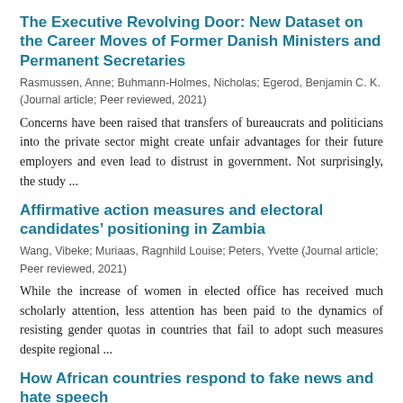The Executive Revolving Door: New Dataset on the Career Moves of Former Danish Ministers and Permanent Secretaries
Rasmussen, Anne; Buhmann-Holmes, Nicholas; Egerod, Benjamin C. K.
(Journal article; Peer reviewed, 2021)
Concerns have been raised that transfers of bureaucrats and politicians into the private sector might create unfair advantages for their future employers and even lead to distrust in government. Not surprisingly, the study ...
Affirmative action measures and electoral candidates’ positioning in Zambia
Wang, Vibeke; Muriaas, Ragnhild Louise; Peters, Yvette (Journal article; Peer reviewed, 2021)
While the increase of women in elected office has received much scholarly attention, less attention has been paid to the dynamics of resisting gender quotas in countries that fail to adopt such measures despite regional ...
How African countries respond to fake news and hate speech